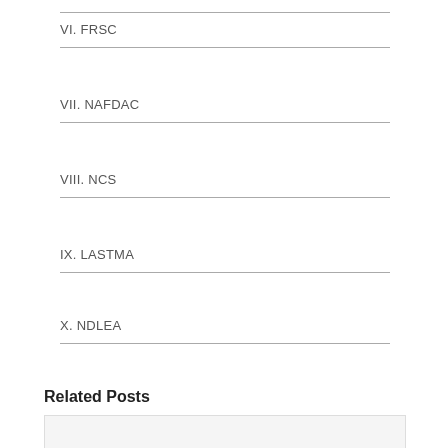VI. FRSC
VII. NAFDAC
VIII. NCS
IX. LASTMA
X. NDLEA
Related Posts